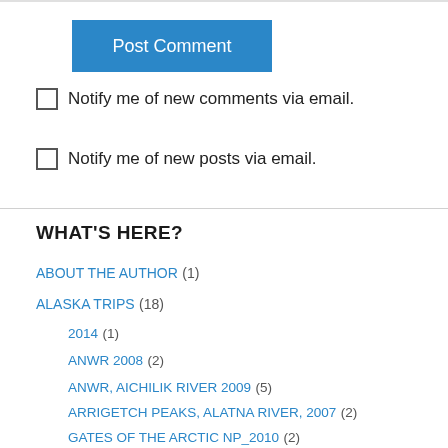Post Comment
Notify me of new comments via email.
Notify me of new posts via email.
WHAT'S HERE?
ABOUT THE AUTHOR (1)
ALASKA TRIPS (18)
2014 (1)
ANWR 2008 (2)
ANWR, AICHILIK RIVER 2009 (5)
ARRIGETCH PEAKS, ALATNA RIVER, 2007 (2)
GATES OF THE ARCTIC NP_2010 (2)
KONGAKUT RIVER BASIN (2)
NOATAK RIVER (3)